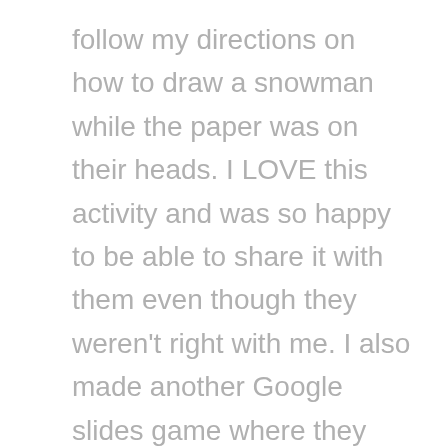follow my directions on how to draw a snowman while the paper was on their heads. I LOVE this activity and was so happy to be able to share it with them even though they weren't right with me. I also made another Google slides game where they saw a zoomed in picture of something holiday themed and then had to guess what it was. We then shifted into a few rounds of holiday charades which was super funny. I then had an ugly sweater making contest. I assigned them a blank sweater template on Seesaw and gave them five minutes to create the ugliest sweater they could. We then went through each one and